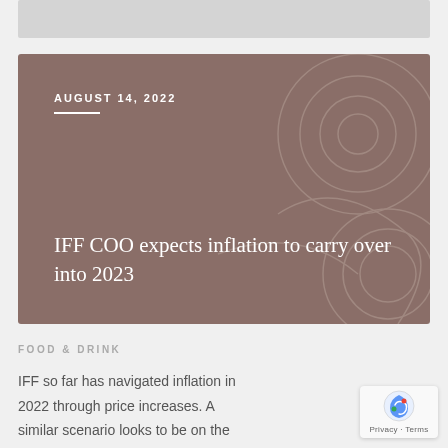[Figure (illustration): Partial gray image bar at top of page, cropped]
[Figure (illustration): Hero card with dark mauve/brown background and decorative swirl line patterns. Contains date 'AUGUST 14, 2022' with underline and title text 'IFF COO expects inflation to carry over into 2023' in white serif font.]
FOOD & DRINK
IFF so far has navigated inflation in 2022 through price increases. A similar scenario looks to be on the